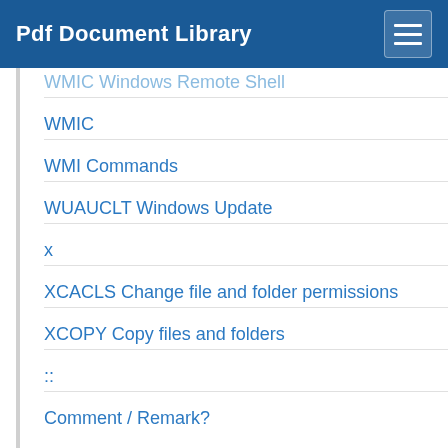Pdf Document Library
WMIC Windows Remote Shell
WMIC
WMI Commands
WUAUCLT Windows Update
x
XCACLS Change file and folder permissions
XCOPY Copy files and folders
::
Comment / Remark?